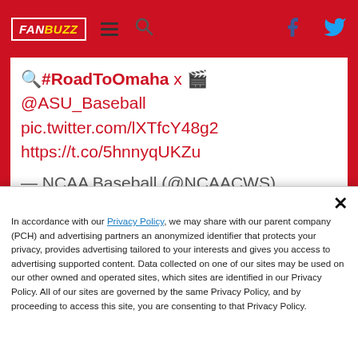FANBUZZ
🔍#RoadToOmaha x 🎥 @ASU_Baseball pic.twitter.com/lXTfcY48g2 https://t.co/5hnnyqUKZu — NCAA Baseball (@NCAACWS) June 6, 2021
In accordance with our Privacy Policy, we may share with our parent company (PCH) and advertising partners an anonymized identifier that protects your privacy, provides advertising tailored to your interests and gives you access to advertising supported content. Data collected on one of our sites may be used on our other owned and operated sites, which sites are identified in our Privacy Policy. All of our sites are governed by the same Privacy Policy, and by proceeding to access this site, you are consenting to that Privacy Policy.